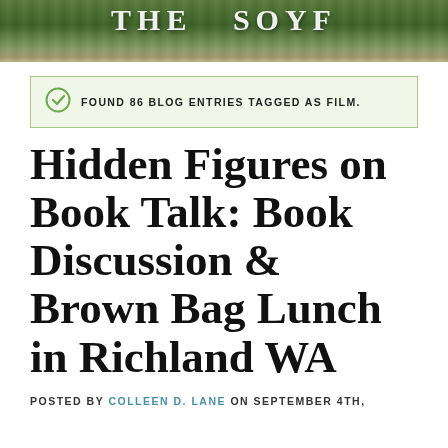[Figure (photo): Aerial or landscape photo of green hills and trees with a building visible, used as page header background]
FOUND 86 BLOG ENTRIES TAGGED AS FILM.
Hidden Figures on Book Talk: Book Discussion & Brown Bag Lunch in Richland WA
POSTED BY COLLEEN D. LANE ON SEPTEMBER 4TH,